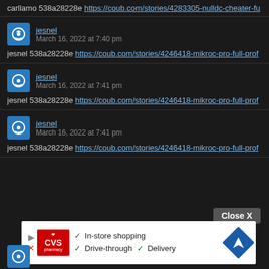carllamo 538a28228e https://coub.com/stories/4283305-nulldc-cheater-fu...
jesnel
March 16, 2022 at 7:40 pm
jesnel 538a28228e https://coub.com/stories/4246418-mikroc-pro-full-prof...
jesnel
March 16, 2022 at 7:41 pm
jesnel 538a28228e https://coub.com/stories/4246418-mikroc-pro-full-prof...
jesnel
March 16, 2022 at 7:41 pm
jesnel 538a28228e https://coub.com/stories/4246418-mikroc-pro-full-prof...
Close X
[Figure (other): CVS Pharmacy advertisement banner showing In-store shopping, Drive-through, and Delivery options with a navigation icon.]